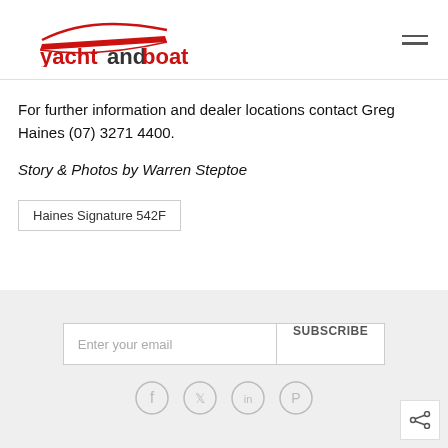yachtandboat by YATCO
For further information and dealer locations contact Greg Haines (07) 3271 4400.
Story & Photos by Warren Steptoe
Haines Signature 542F
Enter your email  SUBSCRIBE
[Figure (other): Social media icons: Facebook, Twitter, LinkedIn, Pinterest]
[Figure (other): Share icon button]